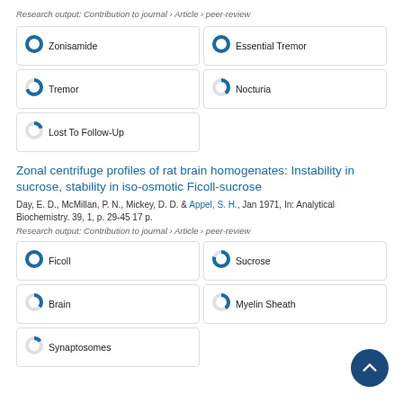Research output: Contribution to journal › Article › peer-review
[Figure (infographic): Five keyword badges with donut chart icons: Zonisamide (100%), Essential Tremor (100%), Tremor (~70%), Nocturia (~40%), Lost To Follow-Up (~20%)]
Zonal centrifuge profiles of rat brain homogenates: Instability in sucrose, stability in iso-osmotic Ficoll-sucrose
Day, E. D., McMillan, P. N., Mickey, D. D. & Appel, S. H., Jan 1971, In: Analytical Biochemistry. 39, 1, p. 29-45 17 p.
Research output: Contribution to journal › Article › peer-review
[Figure (infographic): Five keyword badges with donut chart icons: Ficoll (100%), Sucrose (~80%), Brain (~35%), Myelin Sheath (~40%), Synaptosomes (~15%)]